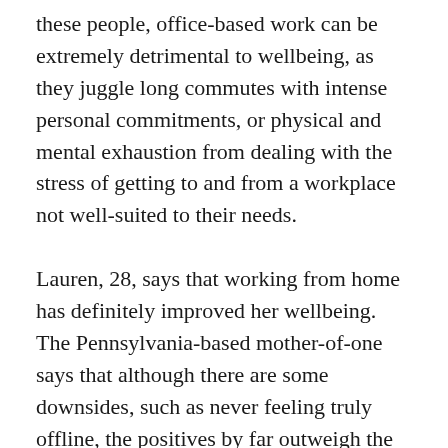these people, office-based work can be extremely detrimental to wellbeing, as they juggle long commutes with intense personal commitments, or physical and mental exhaustion from dealing with the stress of getting to and from a workplace not well-suited to their needs.
Lauren, 28, says that working from home has definitely improved her wellbeing. The Pennsylvania-based mother-of-one says that although there are some downsides, such as never feeling truly offline, the positives by far outweigh the negatives. She points out that she's now able to work in the same room as her husband and daughter while they play together